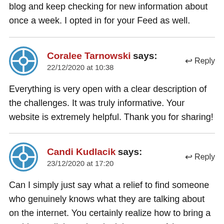blog and keep checking for new information about once a week. I opted in for your Feed as well.
Coralee Tarnowski says: 22/12/2020 at 10:38
Everything is very open with a clear description of the challenges. It was truly informative. Your website is extremely helpful. Thank you for sharing!
Candi Kudlacik says: 23/12/2020 at 17:20
Can I simply just say what a relief to find someone who genuinely knows what they are talking about on the internet. You certainly realize how to bring a problem to light and make it important. A lot more people need to read this and